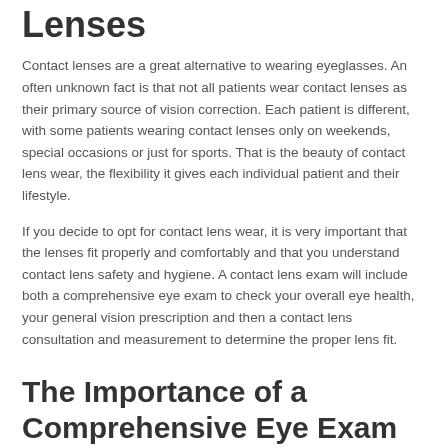Lenses
Contact lenses are a great alternative to wearing eyeglasses. An often unknown fact is that not all patients wear contact lenses as their primary source of vision correction. Each patient is different, with some patients wearing contact lenses only on weekends, special occasions or just for sports. That is the beauty of contact lens wear, the flexibility it gives each individual patient and their lifestyle.
If you decide to opt for contact lens wear, it is very important that the lenses fit properly and comfortably and that you understand contact lens safety and hygiene. A contact lens exam will include both a comprehensive eye exam to check your overall eye health, your general vision prescription and then a contact lens consultation and measurement to determine the proper lens fit.
The Importance of a Comprehensive Eye Exam